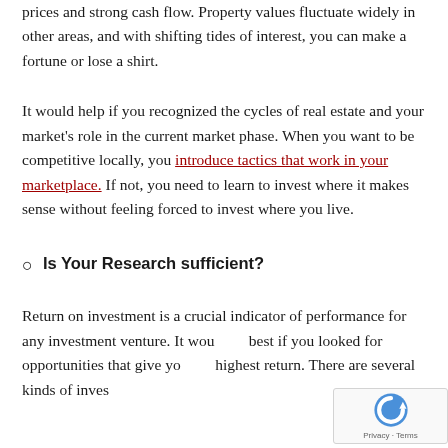prices and strong cash flow. Property values fluctuate widely in other areas, and with shifting tides of interest, you can make a fortune or lose a shirt.
It would help if you recognized the cycles of real estate and your market's role in the current market phase. When you want to be competitive locally, you introduce tactics that work in your marketplace. If not, you need to learn to invest where it makes sense without feeling forced to invest where you live.
Is Your Research sufficient?
Return on investment is a crucial indicator of performance for any investment venture. It would be best if you looked for opportunities that give you the highest return. There are several kinds of investment...